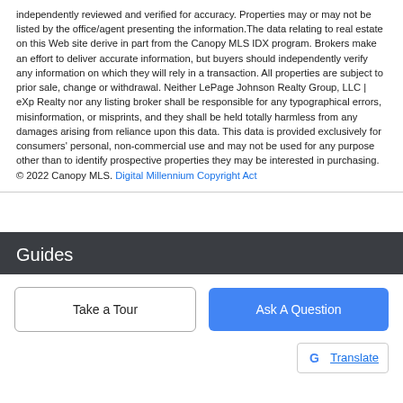independently reviewed and verified for accuracy. Properties may or may not be listed by the office/agent presenting the information.The data relating to real estate on this Web site derive in part from the Canopy MLS IDX program. Brokers make an effort to deliver accurate information, but buyers should independently verify any information on which they will rely in a transaction. All properties are subject to prior sale, change or withdrawal. Neither LePage Johnson Realty Group, LLC | eXp Realty nor any listing broker shall be responsible for any typographical errors, misinformation, or misprints, and they shall be held totally harmless from any damages arising from reliance upon this data. This data is provided exclusively for consumers' personal, non-commercial use and may not be used for any purpose other than to identify prospective properties they may be interested in purchasing. © 2022 Canopy MLS. Digital Millennium Copyright Act
Guides
Take a Tour
Ask A Question
Translate